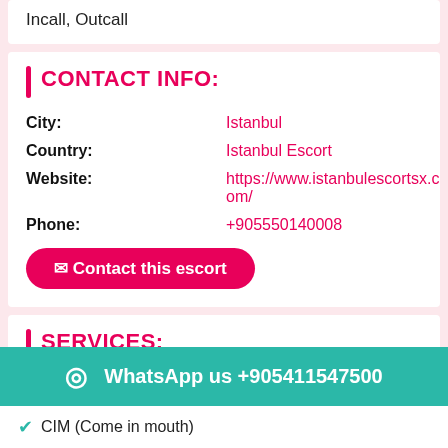Incall, Outcall
CONTACT INFO:
City: Istanbul
Country: Istanbul Escort
Website: https://www.istanbulescortsx.com/
Phone: +905550140008
Contact this escort
SERVICES:
OWO (Oral without condom)
WhatsApp us +905411547500
CIM (Come in mouth)